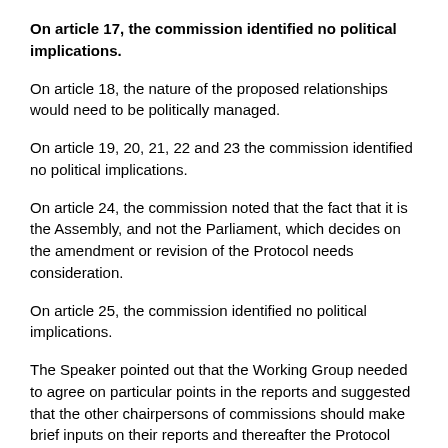On article 17, the commission identified no political implications.
On article 18, the nature of the proposed relationships would need to be politically managed.
On article 19, 20, 21, 22 and 23 the commission identified no political implications.
On article 24, the commission noted that the fact that it is the Assembly, and not the Parliament, which decides on the amendment or revision of the Protocol needs consideration.
On article 25, the commission identified no political implications.
The Speaker pointed out that the Working Group needed to agree on particular points in the reports and suggested that the other chairpersons of commissions should make brief inputs on their reports and thereafter the Protocol should be considered, article by article. Again, the Working Group would need to identify areas that needed follow up and those areas should form part of the second report, if necessary, or should form part of a report to be kept for the actual implementation period. She stated that some of the other aspects that